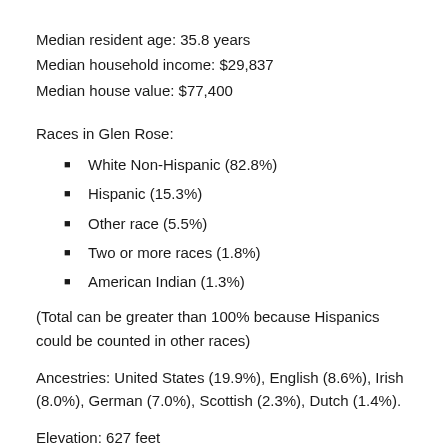Median resident age: 35.8 years
Median household income: $29,837
Median house value: $77,400
Races in Glen Rose:
White Non-Hispanic (82.8%)
Hispanic (15.3%)
Other race (5.5%)
Two or more races (1.8%)
American Indian (1.3%)
(Total can be greater than 100% because Hispanics could be counted in other races)
Ancestries: United States (19.9%), English (8.6%), Irish (8.0%), German (7.0%), Scottish (2.3%), Dutch (1.4%).
Elevation: 627 feet